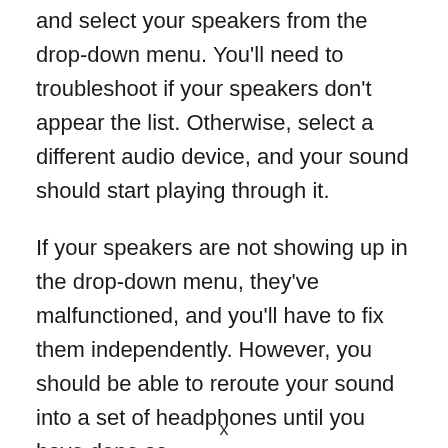and select your speakers from the drop-down menu. You'll need to troubleshoot if your speakers don't appear the list. Otherwise, select a different audio device, and your sound should start playing through it.
If your speakers are not showing up in the drop-down menu, they've malfunctioned, and you'll have to fix them independently. However, you should be able to reroute your sound into a set of headphones until you have done so.
x